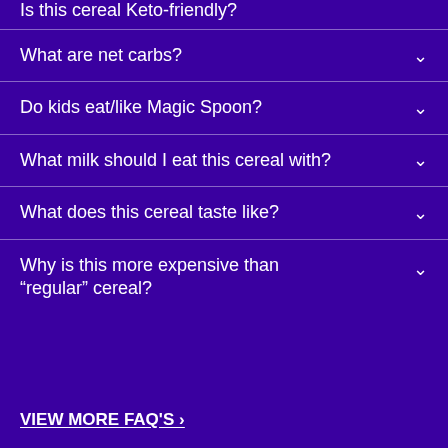Is this cereal Keto-friendly?
What are net carbs?
Do kids eat/like Magic Spoon?
What milk should I eat this cereal with?
What does this cereal taste like?
Why is this more expensive than “regular” cereal?
VIEW MORE FAQ'S ›